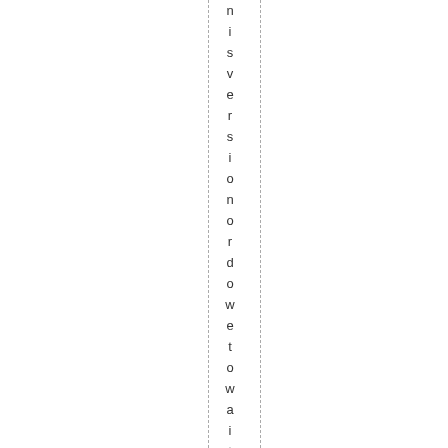n i s v e r s i o n o r d o w e t o w a i t u n t i l - y o u